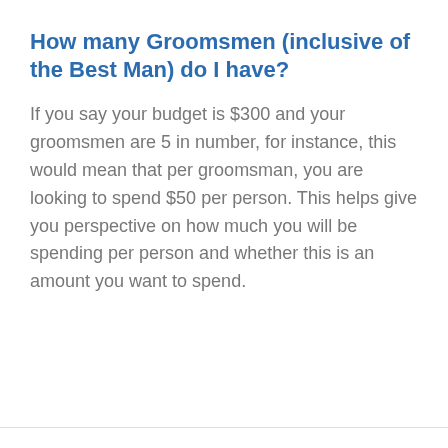How many Groomsmen (inclusive of the Best Man) do I have?
If you say your budget is $300 and your groomsmen are 5 in number, for instance, this would mean that per groomsman, you are looking to spend $50 per person. This helps give you perspective on how much you will be spending per person and whether this is an amount you want to spend.